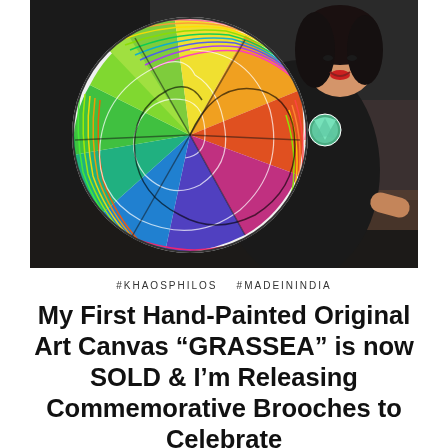[Figure (photo): A woman in black clothing holding a large circular hand-painted artwork with colorful swirling rainbow lines. The artwork is a round canvas with green, yellow, blue, orange, and pink flowing stripe patterns. The woman is smiling and wearing a red lipstick. She has a small circular brooch pin on her top that mirrors the artwork. The background shows an indoor studio setting.]
#KHAOSPHILOS   #MADEININDIA
My First Hand-Painted Original Art Canvas "GRASSEA" is now SOLD & I'm Releasing Commemorative Brooches to Celebrate